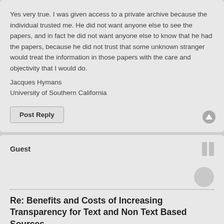Yes very true. I was given access to a private archive because the individual trusted me. He did not want anyone else to see the papers, and in fact he did not want anyone else to know that he had the papers, because he did not trust that some unknown stranger would treat the information in those papers with the care and objectivity that I would do.
Jacques Hymans
University of Southern California
Post Reply
Guest
Re: Benefits and Costs of Increasing Transparency for Text and Non Text Based Sources
PostThu Dec 22, 2016 11:33 am
This is Taylor Rose from Boston University. I'm posting as